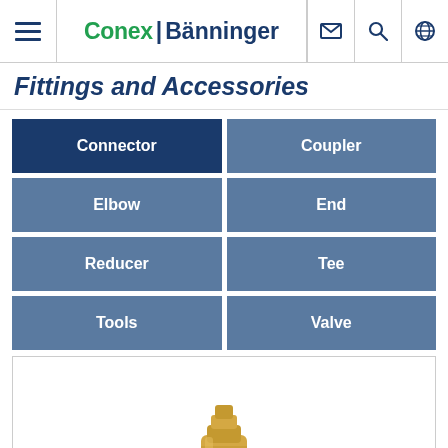Conex | Bänninger — navigation header with menu, logo, email, search, globe icons
Fittings and Accessories
Connector
Coupler
Elbow
End
Reducer
Tee
Tools
Valve
[Figure (photo): Product image of a brass fitting/connector, partially visible at bottom of page]